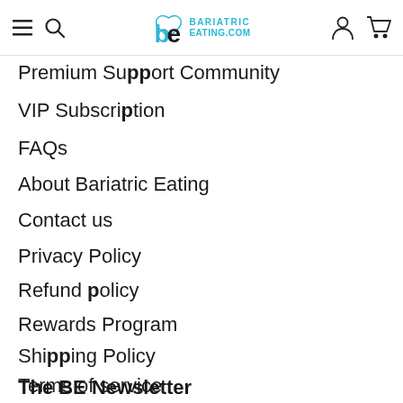Bariatric Eating
Premium Support Community
VIP Subscription
FAQs
About Bariatric Eating
Contact us
Privacy Policy
Refund policy
Rewards Program
Shipping Policy
Terms of service
The BE Newsletter